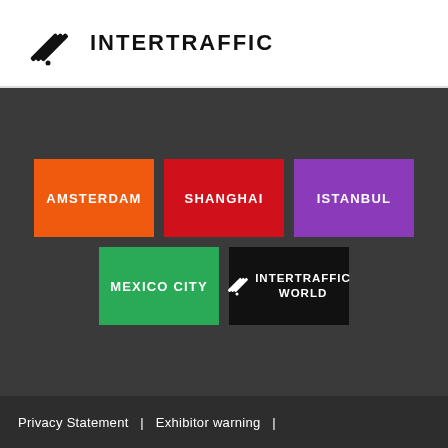INTERTRAFFIC
[Figure (logo): Intertraffic logo with diagonal lines icon and bold uppercase text INTERTRAFFIC]
[Figure (infographic): Dark grey section with five colored city/brand buttons: AMSTERDAM (orange), SHANGHAI (red), ISTANBUL (purple), MEXICO CITY (green), INTERTRAFFIC WORLD (black with logo)]
Privacy Statement   |   Exhibitor warning   |